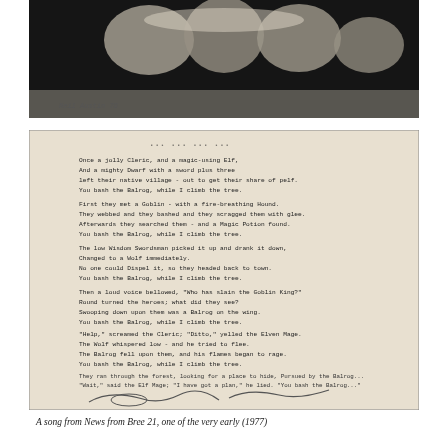[Figure (photo): Black and white photo showing what appears to be hands or figures against a dark background, with a handwritten signature or text 'Neil Austin 78' visible in the lower left corner of the image.]
[Figure (photo): Photograph of a typed poem on paper with the following stanzas: 'Once a jolly Cleric, and a magic-using Elf, And a mighty Dwarf with a sword plus three left their native village - out to get their share of pelf. You bash the Balrog, while I climb the tree. First they met a Goblin - with a fire-breathing Hound. They webbed and they bashed and they scragged them with glee. Afterwards they searched them - and a Magic Potion found. You bash the Balrog, while I climb the tree. The low Wisdom Swordsman picked it up and drank it down, Changed to a Wolf immediately. No one could Dispel it, so they headed back to town. You bash the Balrog, while I climb the tree. Then a loud voice bellowed, "Who has slain the Goblin King?" Round turned the heroes; what did they see? Swooping down upon them was a Balrog on the wing. You bash the Balrog, while I climb the tree. "Help," screamed the Cleric; "Ditto," yelled the Elven Mage. The Wolf whispered low - and he tried to flee. The Balrog fell upon them, and his flames began to rage. You bash the Balrog, while I climb the tree. They ran through the forest, looking for a place to hide, Pursued by the Balrog, so fierce to see. "Wait," said the Elf Mage; "I have got a plan," he lied. "You bash the Balrog, while I climb the tree." Once a mighty Balrog slew a Cleric and an Elf And a smallish Wolf who had teeth plus three, Skinned them and tanned their hides...and kept them on the closet shelf. You bash the Balrog, while I climb the tree.' Below the text is a hand-drawn illustration.]
A song from News from Bree 21, one of the very early (1977)